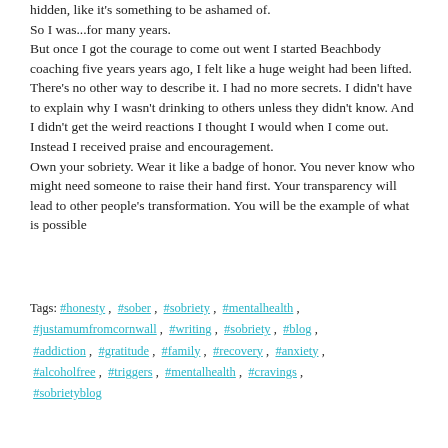hidden, like it's something to be ashamed of. So I was...for many years. But once I got the courage to come out went I started Beachbody coaching five years years ago, I felt like a huge weight had been lifted. There's no other way to describe it. I had no more secrets. I didn't have to explain why I wasn't drinking to others unless they didn't know. And I didn't get the weird reactions I thought I would when I come out. Instead I received praise and encouragement. Own your sobriety. Wear it like a badge of honor. You never know who might need someone to raise their hand first. Your transparency will lead to other people's transformation. You will be the example of what is possible
Tags: #honesty , #sober , #sobriety , #mentalhealth , #justamumfromcornwall , #writing , #sobriety , #blog , #addiction , #gratitude , #family , #recovery , #anxiety , #alcoholfree , #triggers , #mentalhealth , #cravings , #sobrietyblog